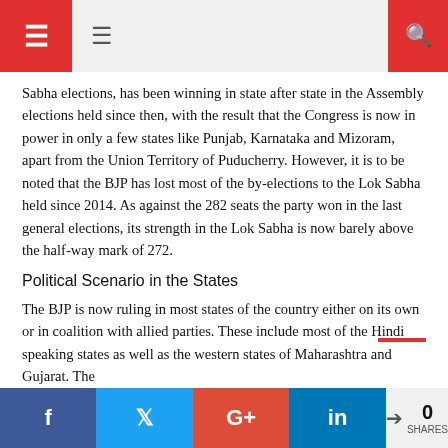Navigation and search header icons
Sabha elections, has been winning in state after state in the Assembly elections held since then, with the result that the Congress is now in power in only a few states like Punjab, Karnataka and Mizoram, apart from the Union Territory of Puducherry. However, it is to be noted that the BJP has lost most of the by-elections to the Lok Sabha held since 2014. As against the 282 seats the party won in the last general elections, its strength in the Lok Sabha is now barely above the half-way mark of 272.
Political Scenario in the States
The BJP is now ruling in most states of the country either on its own or in coalition with allied parties. These include most of the Hindi speaking states as well as the western states of Maharashtra and Gujarat. The
f  t  G+  in  0 SHARES